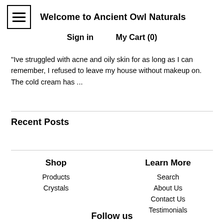Welcome to Ancient Owl Naturals
Sign in   My Cart (0)
"Ive struggled with acne and oily skin for as long as I can remember, I refused to leave my house without makeup on. The cold cream has ...
Recent Posts
Shop
Products
Crystals
Learn More
Search
About Us
Contact Us
Testimonials
Follow us